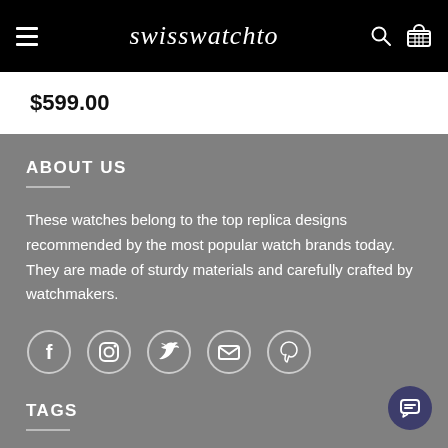swisswatchto
$599.00
ABOUT US
These watches belong to the top replica designs recommended by the most popular watch brands today. They are made of sturdy materials and carefully crafted by watchmakers.
[Figure (infographic): Row of 5 social media icon circles: Facebook, Instagram, Twitter, Email, Pinterest]
TAGS